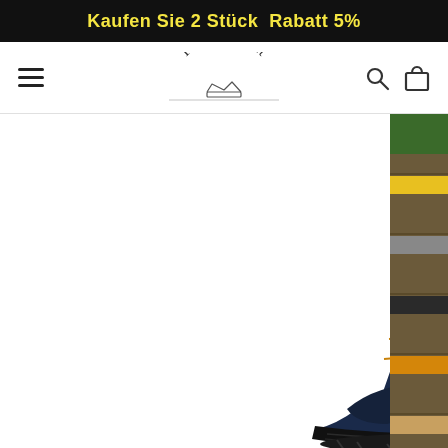Kaufen Sie 2 Stück  Rabatt 5%
[Figure (logo): Fansgemacht brand logo with crown icon, navigation hamburger menu, search icon, and cart icon on white navbar]
[Figure (photo): E-commerce product page showing winter boots/shoes. Center: navy blue ankle boot with fur lining, lace-up, orange contrast stitching, rubber sole, FASHION label. Left partial: yellow/wheat colored boot. Right partial: stacked colorful boots on wooden surface.]